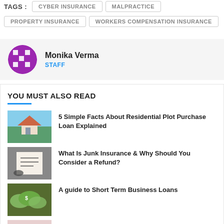TAGS : CYBER INSURANCE  MALPRACTICE  PROPERTY INSURANCE  WORKERS COMPENSATION INSURANCE
Monika Verma
STAFF
YOU MUST ALSO READ
5 Simple Facts About Residential Plot Purchase Loan Explained
What Is Junk Insurance & Why Should You Consider a Refund?
A guide to Short Term Business Loans
No Exam Life Insurance Is Convenient, but Is It Smart?
Insurance Professionals of Arizona is